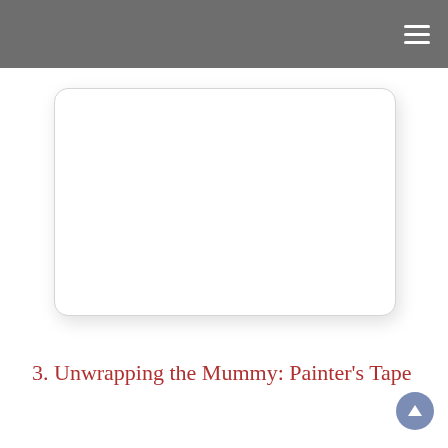[Figure (other): White rounded rectangle placeholder image with light grey border and subtle drop shadow]
3. Unwrapping the Mummy: Painter's Tape